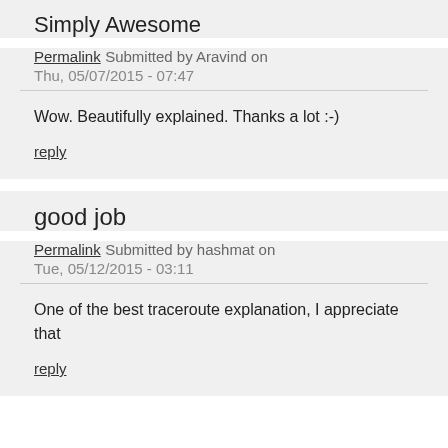Simply Awesome
Permalink Submitted by Aravind on Thu, 05/07/2015 - 07:47
Wow. Beautifully explained. Thanks a lot :-)
reply
good job
Permalink Submitted by hashmat on Tue, 05/12/2015 - 03:11
One of the best traceroute explanation, I appreciate that
reply